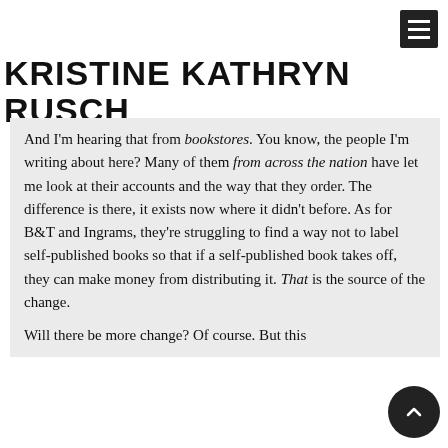KRISTINE KATHRYN RUSCH
And I'm hearing that from bookstores. You know, the people I'm writing about here? Many of them from across the nation have let me look at their accounts and the way that they order. The difference is there, it exists now where it didn't before. As for B&T and Ingrams, they're struggling to find a way not to label self-published books so that if a self-published book takes off, they can make money from distributing it. That is the source of the change.
Will there be more change? Of course. But this